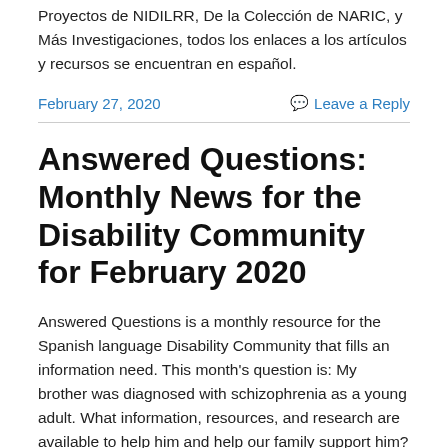Proyectos de NIDILRR, De la Colección de NARIC, y Más Investigaciones, todos los enlaces a los artículos y recursos se encuentran en español.
February 27, 2020    Leave a Reply
Answered Questions: Monthly News for the Disability Community for February 2020
Answered Questions is a monthly resource for the Spanish language Disability Community that fills an information need. This month's question is: My brother was diagnosed with schizophrenia as a young adult. What information, resources, and research are available to help him and help our family support him? This edition of